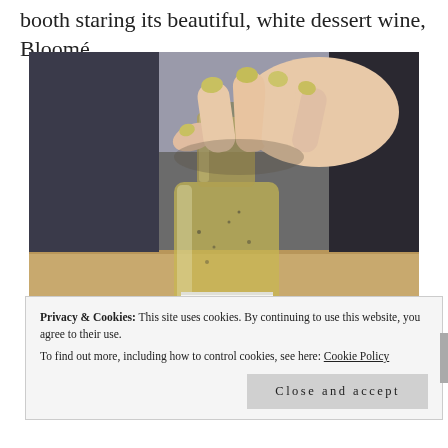booth staring its beautiful, white dessert wine, Bloomé.
[Figure (photo): Close-up photo of a hand with gold/silver painted nails holding the neck of a glass wine bottle. The bottle is partially filled with pale yellow/white wine and has a white label partially visible at the bottom. The background shows a wooden surface and blurred dark background.]
Privacy & Cookies: This site uses cookies. By continuing to use this website, you agree to their use.
To find out more, including how to control cookies, see here: Cookie Policy
Close and accept